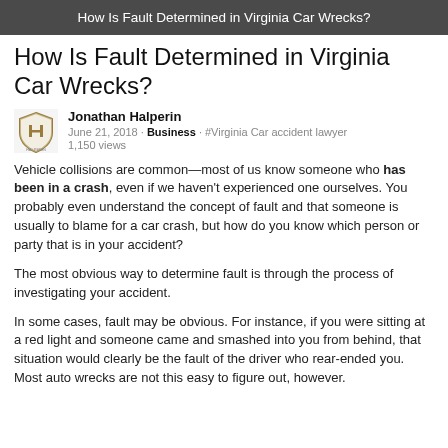How Is Fault Determined in Virginia Car Wrecks?
How Is Fault Determined in Virginia Car Wrecks?
Jonathan Halperin
June 21, 2018 · Business · #Virginia Car accident lawyer
1,150 views
Vehicle collisions are common—most of us know someone who has been in a crash, even if we haven't experienced one ourselves. You probably even understand the concept of fault and that someone is usually to blame for a car crash, but how do you know which person or party that is in your accident?
The most obvious way to determine fault is through the process of investigating your accident.
In some cases, fault may be obvious. For instance, if you were sitting at a red light and someone came and smashed into you from behind, that situation would clearly be the fault of the driver who rear-ended you. Most auto wrecks are not this easy to figure out, however.